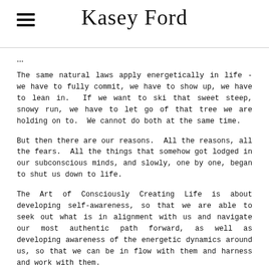Kasey Ford
The same natural laws apply energetically in life - we have to fully commit, we have to show up, we have to lean in.  If we want to ski that sweet steep, snowy run, we have to let go of that tree we are holding on to.  We cannot do both at the same time.
But then there are our reasons.  All the reasons, all the fears.  All the things that somehow got lodged in our subconscious minds, and slowly, one by one, began to shut us down to life.
The Art of Consciously Creating Life is about developing self-awareness, so that we are able to seek out what is in alignment with us and navigate our most authentic path forward, as well as developing awareness of the energetic dynamics around us, so that we can be in flow with them and harness and work with them.
One of my favorite ways of developing this sort of awareness, both of self and my environment, is astrology.  Then working with the energies at